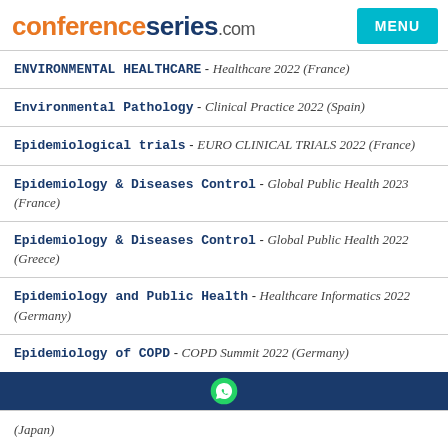conferenceseries.com
ENVIRONMENTAL HEALTHCARE - Healthcare 2022 (France)
Environmental Pathology - Clinical Practice 2022 (Spain)
Epidemiological trials - EURO CLINICAL TRIALS 2022 (France)
Epidemiology & Diseases Control - Global Public Health 2023 (France)
Epidemiology & Diseases Control - Global Public Health 2022 (Greece)
Epidemiology and Public Health - Healthcare Informatics 2022 (Germany)
Epidemiology of COPD - COPD Summit 2022 (Germany)
(Japan)